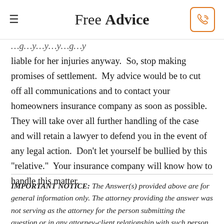Free Advice
liable for her injuries anyway.  So, stop making promises of settlement.  My advice would be to cut off all communications and to contact your homeowners insurance company as soon as possible.  They will take over all further handling of the case and will retain a lawyer to defend you in the event of any legal action.  Don't let yourself be bullied by this "relative."  Your insurance company will know how to handle this matter.
IMPORTANT NOTICE: The Answer(s) provided above are for general information only. The attorney providing the answer was not serving as the attorney for the person submitting the question or in any attorney-client relationship with such person.